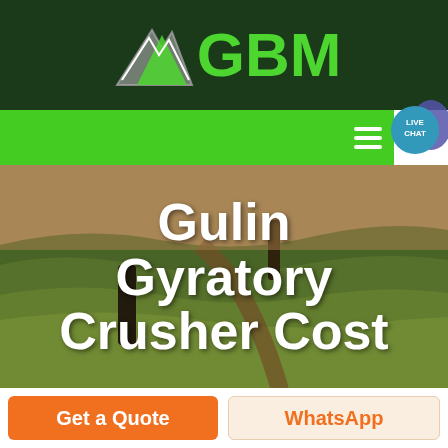[Figure (logo): GBM company logo with mountain/arrow graphic in dark green header bar]
[Figure (screenshot): Green navigation bar with hamburger menu icon and Live Chat bubble in top right]
[Figure (photo): Aerial landscape photograph of rolling green agricultural fields with a dark standing stone or tree]
Gulin Gyratory Crusher Cost
Get a Quote
WhatsApp